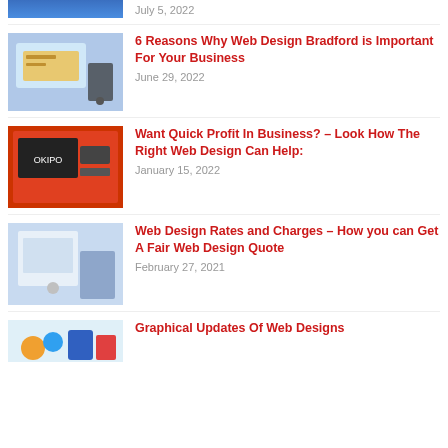[Figure (photo): Partial top thumbnail showing blue social media image (cropped at top)]
July 5, 2022
[Figure (photo): Person using laptop with web design content on screen, holding a smartphone]
6 Reasons Why Web Design Bradford is Important For Your Business
June 29, 2022
[Figure (photo): Red-themed web design presentation on laptop screen with OKIPO branding]
Want Quick Profit In Business? – Look How The Right Web Design Can Help:
January 15, 2022
[Figure (photo): Person working at a desk with tablet, web design work environment]
Web Design Rates and Charges – How you can Get A Fair Web Design Quote
February 27, 2021
[Figure (photo): Colorful web design graphical icons and devices illustration (partial, cropped)]
Graphical Updates Of Web Designs